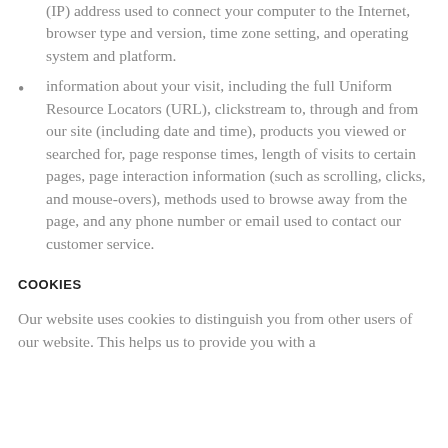(IP) address used to connect your computer to the Internet, browser type and version, time zone setting, and operating system and platform.
information about your visit, including the full Uniform Resource Locators (URL), clickstream to, through and from our site (including date and time), products you viewed or searched for, page response times, length of visits to certain pages, page interaction information (such as scrolling, clicks, and mouse-overs), methods used to browse away from the page, and any phone number or email used to contact our customer service.
COOKIES
Our website uses cookies to distinguish you from other users of our website. This helps us to provide you with a